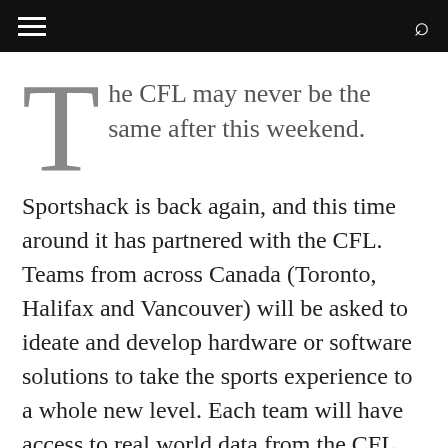≡  🔍
The CFL may never be the same after this weekend.
Sportshack is back again, and this time around it has partnered with the CFL. Teams from across Canada (Toronto, Halifax and Vancouver) will be asked to ideate and develop hardware or software solutions to take the sports experience to a whole new level. Each team will have access to real world data from the CFL, including stats database, game footage and website analytics to participating hackers to help prototype developments in the areas of fan engagement, promoting ticket sales and social media. The